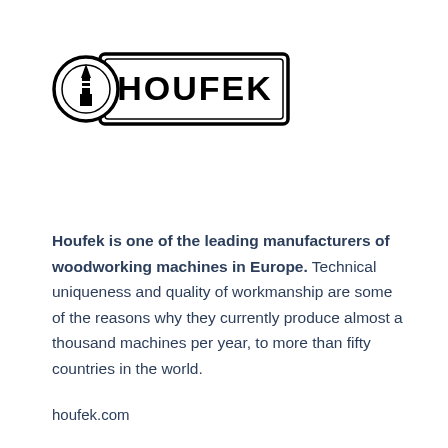[Figure (logo): Houfek company logo — a rectangular badge with a circular emblem on the left containing a lighthouse/tower silhouette, followed by bold text 'HOUFEK' in a rectangular border]
Houfek is one of the leading manufacturers of woodworking machines in Europe. Technical uniqueness and quality of workmanship are some of the reasons why they currently produce almost a thousand machines per year, to more than fifty countries in the world.
houfek.com